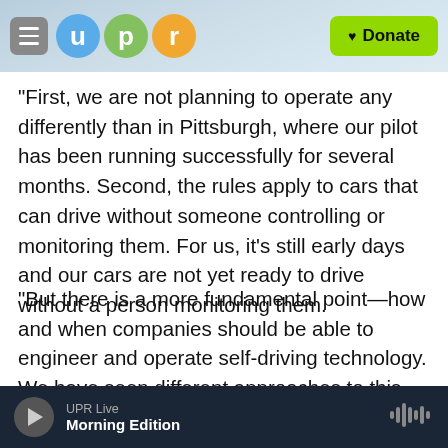UPR — Donate
"First, we are not planning to operate any differently than in Pittsburgh, where our pilot has been running successfully for several months. Second, the rules apply to cars that can drive without someone controlling or monitoring them. For us, it's still early days and our cars are not yet ready to drive without a person monitoring them.
"But there is a more fundamental point—how and when companies should be able to engineer and operate self-driving technology. We have seen different approaches to this question. Most states
UPR Live — Morning Edition